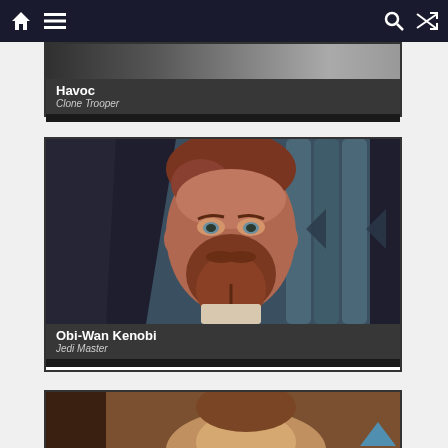Navigation bar with home, menu, search, and shuffle icons
[Figure (screenshot): Partially visible card for character Havoc, Clone Trooper — top portion cropped]
Havoc
Clone Trooper
[Figure (screenshot): Character card showing animated 3D render of Obi-Wan Kenobi, a bearded Jedi Master, from Star Wars: The Clone Wars]
Obi-Wan Kenobi
Jedi Master
[Figure (screenshot): Partially visible character card at the bottom of the page — cropped, character not fully identified]